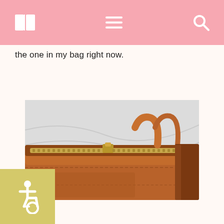the one in my bag right now.
[Figure (photo): Close-up photo of a brown leather bag with gold zipper hardware, photographed against a white background.]
[Figure (infographic): Accessibility icon (wheelchair symbol) on a yellow-green square badge in the bottom-left corner.]